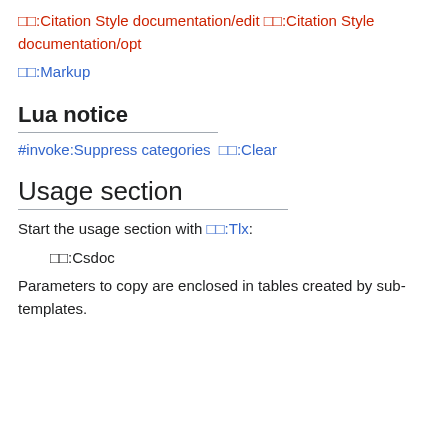🔲🔲:Citation Style documentation/edit 🔲🔲:Citation Style documentation/opt
🔲🔲:Markup
Lua notice
#invoke:Suppress categories 🔲🔲:Clear
Usage section
Start the usage section with 🔲🔲:Tlx:
🔲🔲:Csdoc
Parameters to copy are enclosed in tables created by sub-templates.